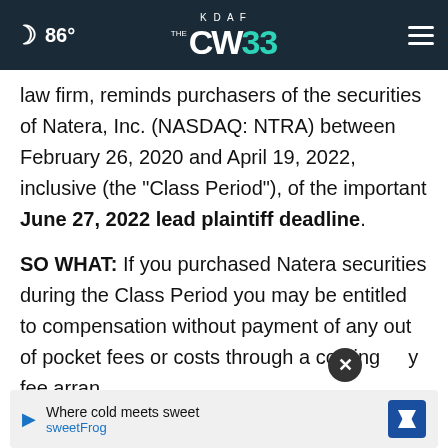86° KDAF CW33
law firm, reminds purchasers of the securities of Natera, Inc. (NASDAQ: NTRA) between February 26, 2020 and April 19, 2022, inclusive (the "Class Period"), of the important June 27, 2022 lead plaintiff deadline.
SO WHAT: If you purchased Natera securities during the Class Period you may be entitled to compensation without payment of any out of pocket fees or costs through a contingency fee arran
Where cold meets sweet sweetFrog